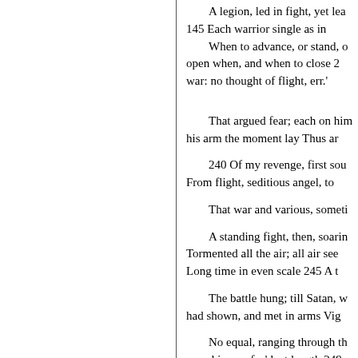A legion, led in fight, yet lea
145 Each warrior single as in
When to advance, or stand, o open when, and when to close 2 war: no thought of flight, err.'

That argued fear; each on him his arm the moment lay Thus ar
240 Of my revenge, first sou From flight, seditious angel, to
That war and various, someti
A standing fight, then, soarin Tormented all the air; all air see Long time in even scale 245 A t
The battle hung; till Satan, w had shown, and met in arms Vig
No equal, ranging through th seraphim confus'd, at length 249
160 Saw where the sword of show Squadrons at once : with h